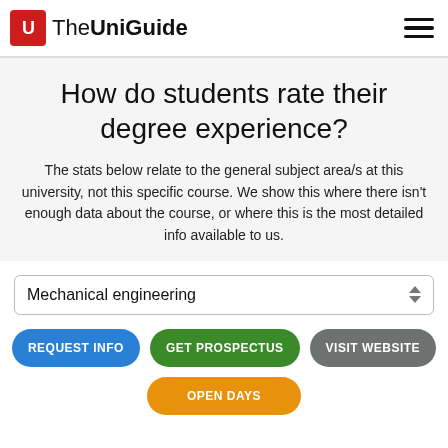TheUniGuide
How do students rate their degree experience?
The stats below relate to the general subject area/s at this university, not this specific course. We show this where there isn't enough data about the course, or where this is the most detailed info available to us.
Mechanical engineering
REQUEST INFO
GET PROSPECTUS
VISIT WEBSITE
OPEN DAYS